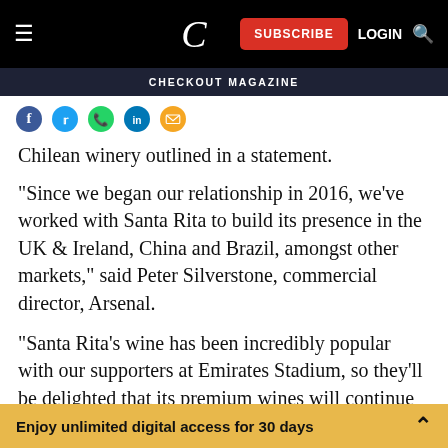CHECKOUT MAGAZINE
[Figure (infographic): Social sharing icons: Facebook (blue), Twitter (blue), WhatsApp (green), LinkedIn (blue), Email (orange/yellow)]
Chilean winery outlined in a statement.
"Since we began our relationship in 2016, we've worked with Santa Rita to build its presence in the UK & Ireland, China and Brazil, amongst other markets," said Peter Silverstone, commercial director, Arsenal.
“Santa Rita’s wine has been incredibly popular with our supporters at Emirates Stadium, so they’ll be delighted that its premium wines will continue to be exclusively poured on matchdays and at our stadium
Enjoy unlimited digital access for 30 days